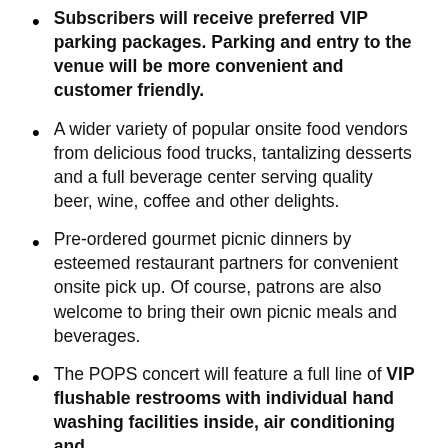Subscribers will receive preferred VIP parking packages. Parking and entry to the venue will be more convenient and customer friendly.
A wider variety of popular onsite food vendors from delicious food trucks, tantalizing desserts and a full beverage center serving quality beer, wine, coffee and other delights.
Pre-ordered gourmet picnic dinners by esteemed restaurant partners for convenient onsite pick up. Of course, patrons are also welcome to bring their own picnic meals and beverages.
The POPS concert will feature a full line of VIP flushable restrooms with individual hand washing facilities inside, air conditioning and